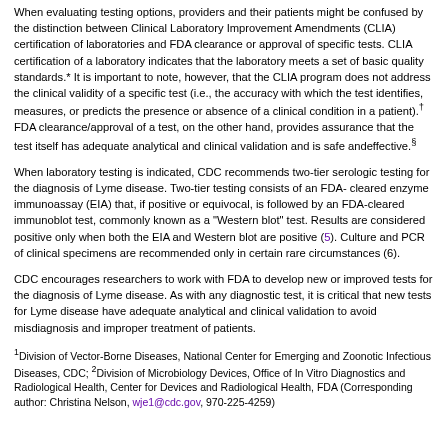When evaluating testing options, providers and their patients might be confused by the distinction between Clinical Laboratory Improvement Amendments (CLIA) certification of laboratories and FDA clearance or approval of specific tests. CLIA certification of a laboratory indicates that the laboratory meets a set of basic quality standards.* It is important to note, however, that the CLIA program does not address the clinical validity of a specific test (i.e., the accuracy with which the test identifies, measures, or predicts the presence or absence of a clinical condition in a patient).† FDA clearance/approval of a test, on the other hand, provides assurance that the test itself has adequate analytical and clinical validation and is safe andeffective.§
When laboratory testing is indicated, CDC recommends two-tier serologic testing for the diagnosis of Lyme disease. Two-tier testing consists of an FDA-cleared enzyme immunoassay (EIA) that, if positive or equivocal, is followed by an FDA-cleared immunoblot test, commonly known as a "Western blot" test. Results are considered positive only when both the EIA and Western blot are positive (5). Culture and PCR of clinical specimens are recommended only in certain rare circumstances (6).
CDC encourages researchers to work with FDA to develop new or improved tests for the diagnosis of Lyme disease. As with any diagnostic test, it is critical that new tests for Lyme disease have adequate analytical and clinical validation to avoid misdiagnosis and improper treatment of patients.
1Division of Vector-Borne Diseases, National Center for Emerging and Zoonotic Infectious Diseases, CDC; 2Division of Microbiology Devices, Office of In Vitro Diagnostics and Radiological Health, Center for Devices and Radiological Health, FDA (Corresponding author: Christina Nelson, wje1@cdc.gov, 970-225-4259)